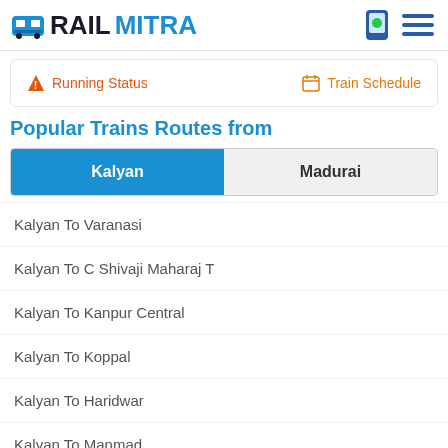RAILMITRA
Running Status | Train Schedule
Popular Trains Routes from
Kalyan | Madurai
Kalyan To Varanasi
Kalyan To C Shivaji Maharaj T
Kalyan To Kanpur Central
Kalyan To Koppal
Kalyan To Haridwar
Kalyan To Manmad